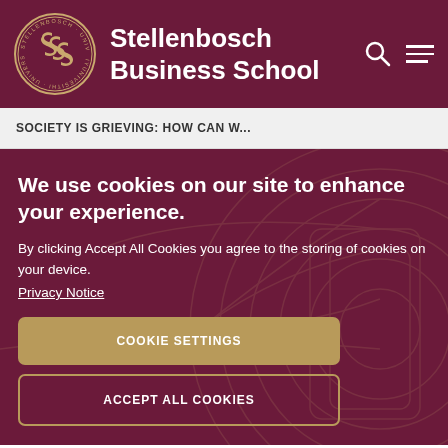Stellenbosch Business School
SOCIETY IS GRIEVING: HOW CAN W...
We use cookies on our site to enhance your experience.
By clicking Accept All Cookies you agree to the storing of cookies on your device. Privacy Notice
COOKIE SETTINGS
ACCEPT ALL COOKIES